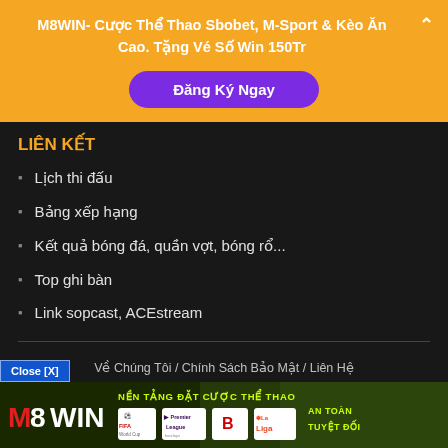M8WIN- Cược Thể Thao Sbobet, M-Sport & Kèo Ăn Cao. Tặng Vé Số Win 150Tr
Đăng Ký Ngay
LIÊN KẾT
Lịch thi đấu
Bảng xếp hạng
Kết quả bóng đá, quần vợt, bóng rổ...
Top ghi bàn
Link sopcast, ACEstream
Về Chúng Tôi / Chính Sách Bảo Mật / Liên Hệ
[Figure (infographic): M8WIN sports betting advertisement banner with logo, NEN TANG DAT CUOC THE THAO slogan, Premier League, Bundesliga, LaLiga logos, and AN TOAN TUYET DOI text]